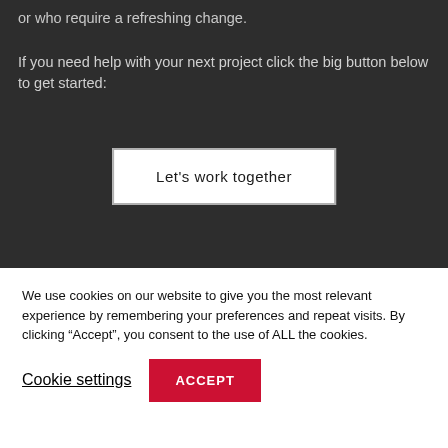or who require a refreshing change.
If you need help with your next project click the big button below to get started:
Let's work together
We use cookies on our website to give you the most relevant experience by remembering your preferences and repeat visits. By clicking “Accept”, you consent to the use of ALL the cookies.
Cookie settings
ACCEPT